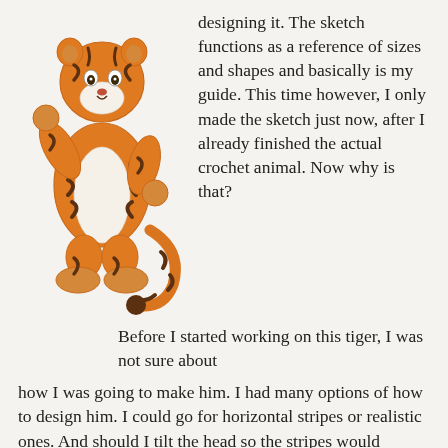[Figure (illustration): Watercolor illustration of a cartoon standing tiger crochet animal with orange and brown stripes, white belly, waving one paw, with a curled striped tail.]
designing it. The sketch functions as a reference of sizes and shapes and basically is my guide. This time however, I only made the sketch just now, after I already finished the actual crochet animal. Now why is that?
Before I started working on this tiger, I was not sure about how I was going to make him. I had many options of how to design him. I could go for horizontal stripes or realistic ones. And should I tilt the head so the stripes would follow the lines of the crochet rounds better? There were so many options, I had to try it all. Then of course at some point, I found the right style for the tiger and went along making him.